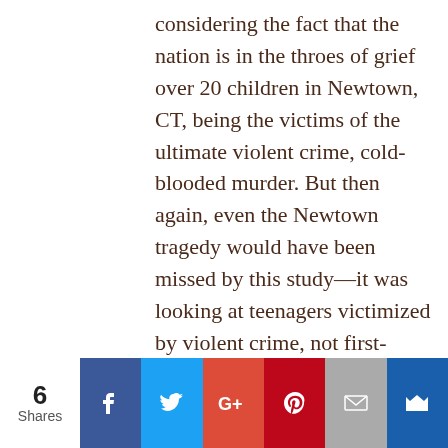considering the fact that the nation is in the throes of grief over 20 children in Newtown, CT, being the victims of the ultimate violent crime, cold-blooded murder. But then again, even the Newtown tragedy would have been missed by this study—it was looking at teenagers victimized by violent crime, not first-graders.
I think the words uttered in Newtown by President Obama are quite relevant here:
“This is our first task, caring for our
[Figure (other): Social media share bar with share count of 6, and buttons for Facebook, Twitter, Google+, Pinterest, Email, and Bookmark]